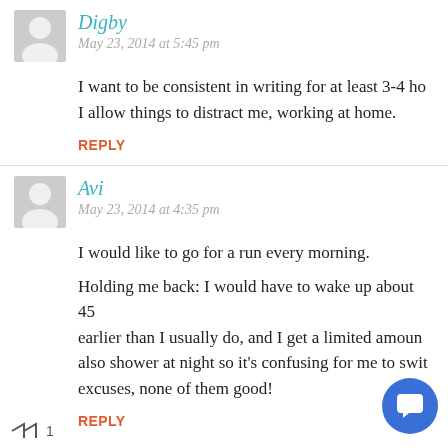Digby
May 23, 2014 at 5:45 pm
I want to be consistent in writing for at least 3-4 ho... I allow things to distract me, working at home.
Reply
Avi
May 23, 2014 at 4:35 pm
I would like to go for a run every morning.
Holding me back: I would have to wake up about 45... earlier than I usually do, and I get a limited amoun... also shower at night so it's confusing for me to swit... excuses, none of them good!
Reply